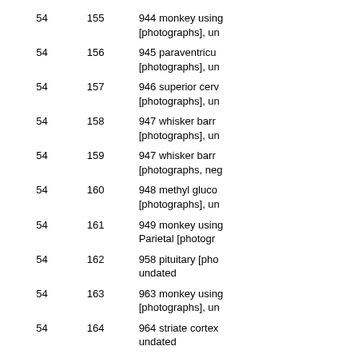| Box | Folder |  | Description |
| --- | --- | --- | --- |
| 54 | 155 |  | 944 monkey using
[photographs], un |
| 54 | 156 |  | 945 paraventricular
[photographs], un |
| 54 | 157 |  | 946 superior cerv
[photographs], un |
| 54 | 158 |  | 947 whisker barr
[photographs], un |
| 54 | 159 |  | 947 whisker barr
[photographs, neg |
| 54 | 160 |  | 948 methyl gluco
[photographs], un |
| 54 | 161 |  | 949 monkey using
Parietal [photogr |
| 54 | 162 |  | 958 pituitary [pho
undated |
| 54 | 163 |  | 963 monkey using
[photographs], un |
| 54 | 164 |  | 964 striate cortex
undated |
| 54 | 165 |  | 1001 postnatal ch |